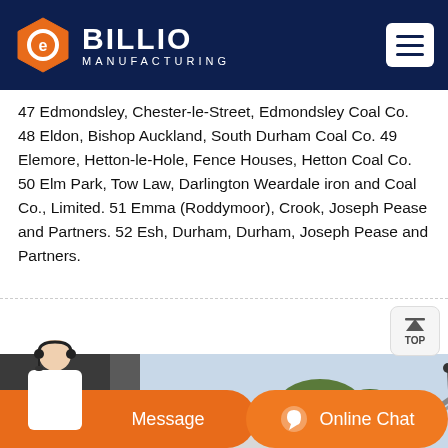BILLIO MANUFACTURING
47 Edmondsley, Chester-le-Street, Edmondsley Coal Co. 48 Eldon, Bishop Auckland, South Durham Coal Co. 49 Elemore, Hetton-le-Hole, Fence Houses, Hetton Coal Co. 50 Elm Park, Tow Law, Darlington Weardale iron and Coal Co., Limited. 51 Emma (Roddymoor), Crook, Joseph Pease and Partners. 52 Esh, Durham, Durham, Joseph Pease and Partners.
[Figure (photo): Industrial scene with a crane arm extended against a sky background; trees visible in background.]
Message   Online Chat